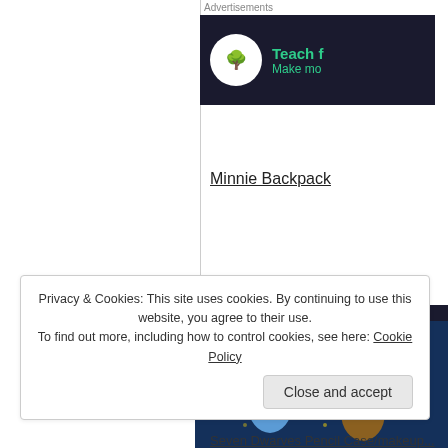[Figure (photo): Advertisement banner for 'Teach for' service with dark background, circular logo, and teal text]
Minnie Backpack
[Figure (photo): Disney dwarfs patterned pouch/purse on navy blue fabric with a zipper, colorful cartoon characters]
Privacy & Cookies: This site uses cookies. By continuing to use this website, you agree to their use.
To find out more, including how to control cookies, see here: Cookie Policy
Close and accept
Seven Dwarves Pencil Case/makeup...